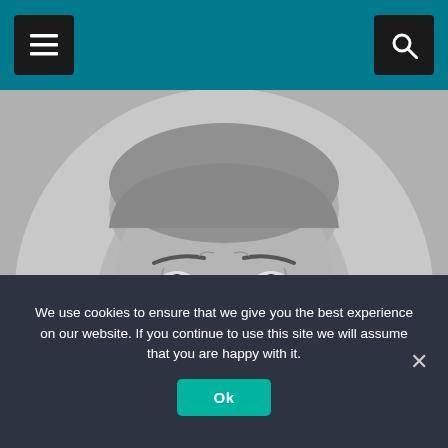[Figure (screenshot): Website header bar with teal background, hamburger menu icon on left and search icon on right, both in dark square buttons]
[Figure (photo): Grayscale circular cropped portrait photo of an older man smiling, close-up face shot, on a gray background]
We use cookies to ensure that we give you the best experience on our website. If you continue to use this site we will assume that you are happy with it.
Ok